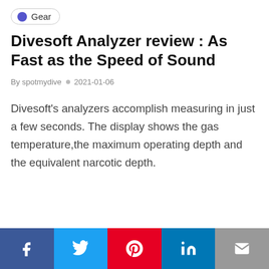Gear
Divesoft Analyzer review : As Fast as the Speed of Sound
By spotmydive  2021-01-06
Divesoft's analyzers accomplish measuring in just a few seconds. The display shows the gas temperature,the maximum operating depth and the equivalent narcotic depth.